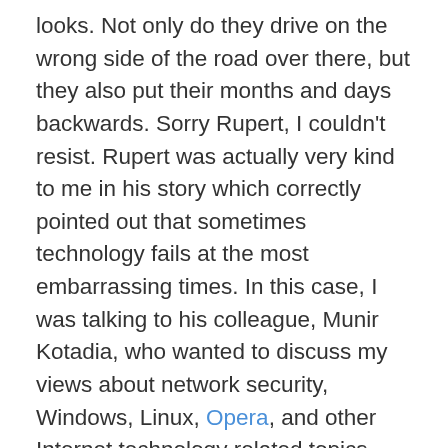looks. Not only do they drive on the wrong side of the road over there, but they also put their months and days backwards. Sorry Rupert, I couldn't resist. Rupert was actually very kind to me in his story which correctly pointed out that sometimes technology fails at the most embarrassing times. In this case, I was talking to his colleague, Munir Kotadia, who wanted to discuss my views about network security, Windows, Linux, Opera, and other Internet technology related topics. Munir had sent me an email and asked if we could talk. I called him in London using my packet8.net IP phone. It is generally highly reliable — had a flawless and high quality call with Oslo, Norway this morning — but not always. Sometimes there is a pause. Not exactly sure why. The path from the Radio Shack cordless phone to the packet8 MTA to my LAN to my hub to my cable modem to Comcast to their router to